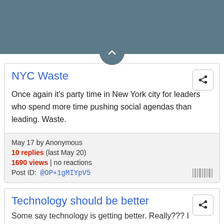NYC Waste
Once again it's party time in New York city for leaders who spend more time pushing social agendas than leading. Waste.
May 17 by Anonymous
10 replies (last May 20)
1690 views | no reactions
Post ID: @OP+1gMIYpV5
Technology should be better
Some say technology is getting better. Really??? I